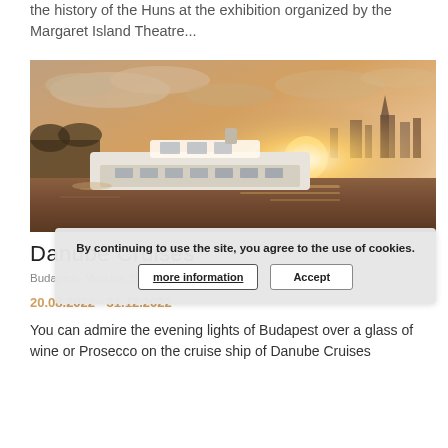the history of the Huns at the exhibition organized by the Margaret Island Theatre...
[Figure (photo): A passenger cruise boat on the Danube river at sunset, golden light reflecting on the water, city skyline in background with dramatic cloudy sky]
Danube Cruises
Budapest, Március 15-3kt. Magyarország
20.08.2022 - 31.12.2022
You can admire the evening lights of Budapest over a glass of wine or Prosecco on the cruise ship of Danube Cruises
By continuing to use the site, you agree to the use of cookies.